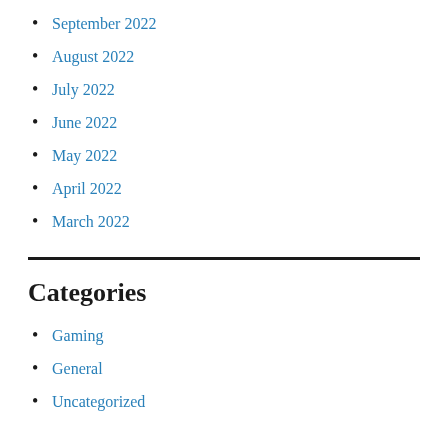September 2022
August 2022
July 2022
June 2022
May 2022
April 2022
March 2022
Categories
Gaming
General
Uncategorized